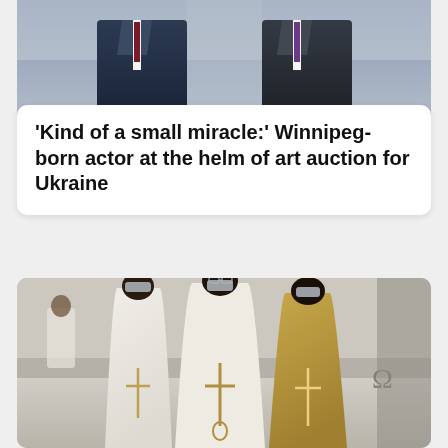[Figure (photo): Cropped photo showing the lower torso and legs of two men in dark suits, one in navy blue and one in dark charcoal, appearing to stand side by side against a light background.]
'Kind of a small miracle:' Winnipeg-born actor at the helm of art auction for Ukraine
[Figure (photo): Photo of three men wearing ceremonial white and gold religious vestments (chasubles) with crosses embroidered on them, standing with their backs to the camera in what appears to be a church interior. They are wearing face masks.]